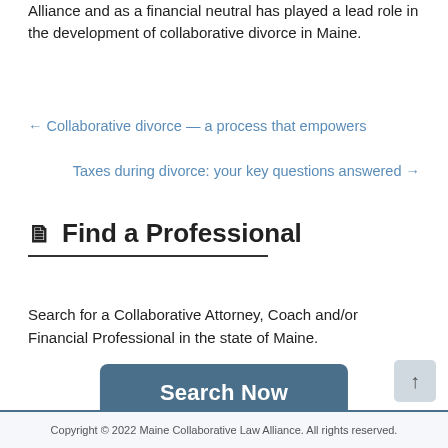Alliance and as a financial neutral has played a lead role in the development of collaborative divorce in Maine.
← Collaborative divorce — a process that empowers
Taxes during divorce: your key questions answered →
Find a Professional
Search for a Collaborative Attorney, Coach and/or Financial Professional in the state of Maine.
[Figure (other): Search Now button — a dark blue rounded rectangle with white bold text 'Search Now']
Copyright © 2022 Maine Collaborative Law Alliance. All rights reserved.